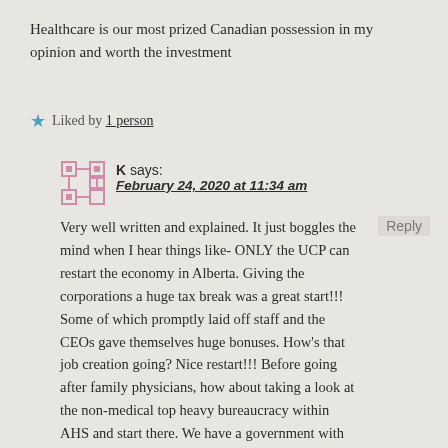Healthcare is our most prized Canadian possession in my opinion and worth the investment
Liked by 1 person
K says:
February 24, 2020 at 11:34 am
Very well written and explained. It just boggles the mind when I hear things like- ONLY the UCP can restart the economy in Alberta. Giving the corporations a huge tax break was a great start!!! Some of which promptly laid off staff and the CEOs gave themselves huge bonuses. How's that job creation going? Nice restart!!! Before going after family physicians, how about taking a look at the non-medical top heavy bureaucracy within AHS and start there. We have a government with no vision and a premier who idolizes Klein. That should say it all.